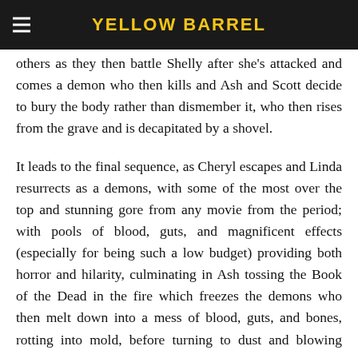YELLOW BARREL
others as they then battle Shelly after she's attacked and comes a demon who then kills and Ash and Scott decide to bury the body rather than dismember it, who then rises from the grave and is decapitated by a shovel.
It leads to the final sequence, as Cheryl escapes and Linda resurrects as a demons, with some of the most over the top and stunning gore from any movie from the period; with pools of blood, guts, and magnificent effects (especially for being such a low budget) providing both horror and hilarity, culminating in Ash tossing the Book of the Dead in the fire which freezes the demons who then melt down into a mess of blood, guts, and bones, rotting into mold, before turning to dust and blowing away.
Reading both Bazin's "What is Cinema? Vol. 1" (1967) and Munsterburg's "The Film: A Psychological Study" (1916) before writing this, both writers refer to cinema's "plastic"